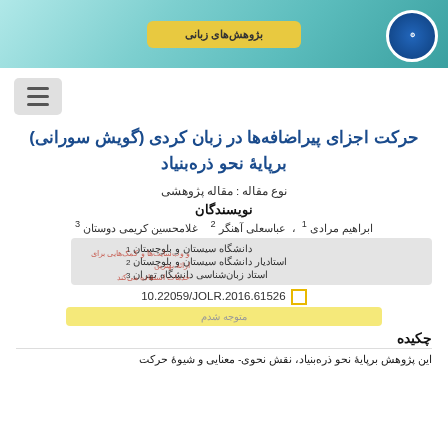[Figure (screenshot): Website header banner with teal/turquoise background, yellow banner in center with Persian text, and circular university logo on right]
[Figure (other): Hamburger menu icon (three horizontal lines) in a gray rounded square]
حرکت اجزای پیراضافه‌ها در زبان کردی (گویش سورانی) برپایۀ نحو ذره‌بنیاد
نوع مقاله : مقاله پژوهشی
نویسندگان
ابراهیم مرادی ¹ ، عباسعلی آهنگر ² ، غلامحسین کریمی دوستان ³
¹ دانشگاه سیستان و بلوچستان
² استادیار دانشگاه سیستان و بلوچستان
³ استاد زبان‌شناسی دانشگاه تهران
10.22059/JOLR.2016.61526
چکیده
این پژوهش برپایۀ نحو ذره‌بنیاد، نقش نحوی- معنایی و شیوۀ حرکت